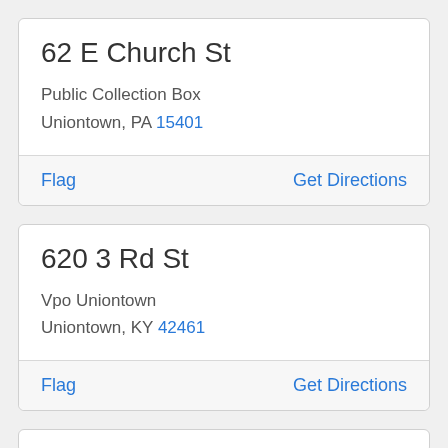62 E Church St
Public Collection Box
Uniontown, PA 15401
Flag    Get Directions
620 3 Rd St
Vpo Uniontown
Uniontown, KY 42461
Flag    Get Directions